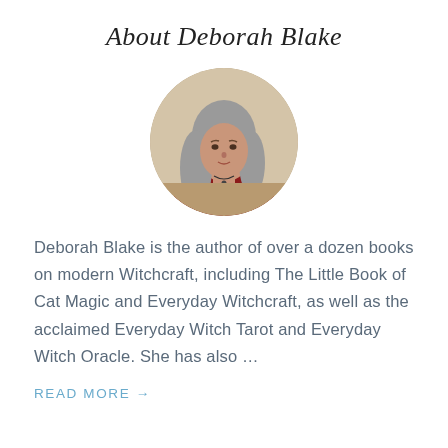About Deborah Blake
[Figure (photo): Circular portrait photo of Deborah Blake, a woman with long gray hair wearing a dark red top, seated in front of a light-colored background.]
Deborah Blake is the author of over a dozen books on modern Witchcraft, including The Little Book of Cat Magic and Everyday Witchcraft, as well as the acclaimed Everyday Witch Tarot and Everyday Witch Oracle. She has also …
READ MORE →